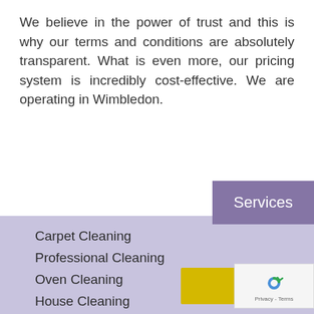We believe in the power of trust and this is why our terms and conditions are absolutely transparent. What is even more, our pricing system is incredibly cost-effective. We are operating in Wimbledon.
Services
Carpet Cleaning
Professional Cleaning
Oven Cleaning
House Cleaning
End of Tenancy Cleaning
Deep Cleaning
Tap to Call